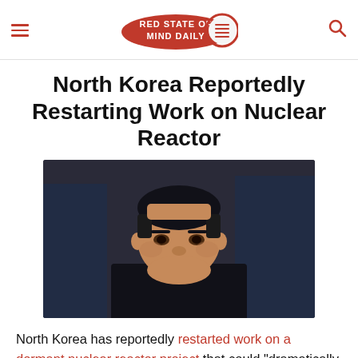RED STATE OF MIND DAILY
North Korea Reportedly Restarting Work on Nuclear Reactor
[Figure (photo): Photo of Kim Jong-un in a black jacket, looking downward, with figures in blue in the background]
North Korea has reportedly restarted work on a dormant nuclear reactor project that could "dramatically increase" its ability to develop